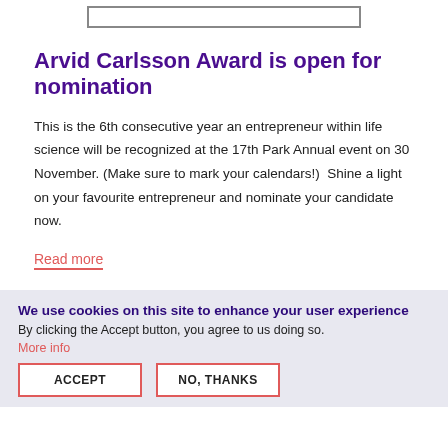[Figure (other): Image placeholder box at the top of the card]
Arvid Carlsson Award is open for nomination
This is the 6th consecutive year an entrepreneur within life science will be recognized at the 17th Park Annual event on 30 November. (Make sure to mark your calendars!)  Shine a light on your favourite entrepreneur and nominate your candidate now.
Read more
We use cookies on this site to enhance your user experience
By clicking the Accept button, you agree to us doing so.
More info
ACCEPT
NO, THANKS